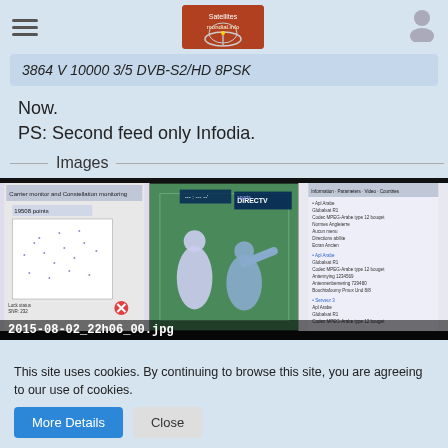3864 V 10000 3/5 DVB-S2/HD 8PSK
Now.
PS: Second feed only Infodia.
Images
[Figure (screenshot): Screenshot composite showing three panels: left panel with satellite signal monitoring software displaying constellation diagram and signal parameters, center panel showing a soccer/football match broadcast on DirecTV Sports, right panel showing a text/settings list. Filename overlay reads: 2015-08-02_22h06_00.jpg]
This site uses cookies. By continuing to browse this site, you are agreeing to our use of cookies.